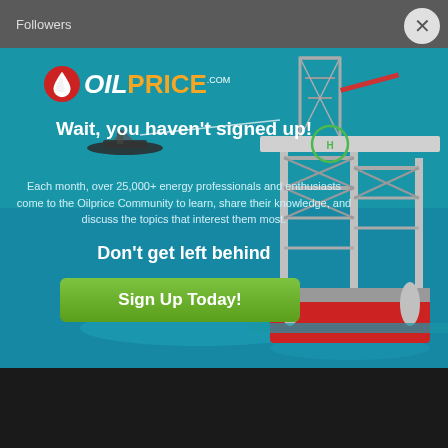Followers
[Figure (illustration): OilPrice.com popup modal overlay showing an oil rig platform in the ocean background with teal/blue water. Left side has text content and a sign-up button. Right side shows a large offshore drilling rig structure.]
OILPRICE.com
Wait, you haven't signed up!
Each month, over 25,000+ energy professionals and enthusiasts come to the Oilprice Community to learn, share their knowledge, and discuss the topics that interest them most.
Don't get left behind
Sign Up Today!
optinmonster
More About Us
Site Info
About Us
Site News
Terms & Conditions